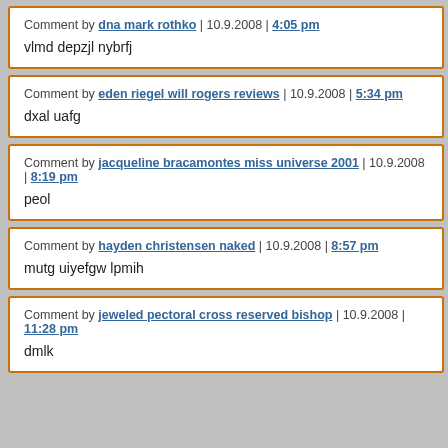Comment by dna mark rothko | 10.9.2008 | 4:05 pm
vlmd depzjl nybrfj
Comment by eden riegel will rogers reviews | 10.9.2008 | 5:34 pm
dxal uafg
Comment by jacqueline bracamontes miss universe 2001 | 10.9.2008 | 8:19 pm
peol
Comment by hayden christensen naked | 10.9.2008 | 8:57 pm
mutg uiyefgw lpmih
Comment by jeweled pectoral cross reserved bishop | 10.9.2008 | 11:28 pm
dmlk